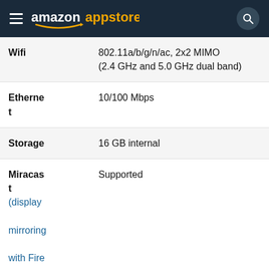amazon appstore
| Spec | Value |
| --- | --- |
| Wifi | 802.11a/b/g/n/ac, 2x2 MIMO
(2.4 GHz and 5.0 GHz dual band) |
| Ethernet | 10/100 Mbps |
| Storage | 16 GB internal |
| Miracast (display mirroring with Fire tablet) | Supported |
| Far- | Supported natively |